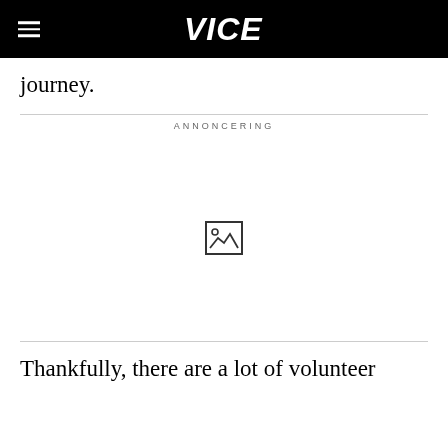VICE
journey.
ANNONCERING
[Figure (other): Advertisement placeholder image icon showing a broken/loading image symbol]
Thankfully, there are a lot of volunteer